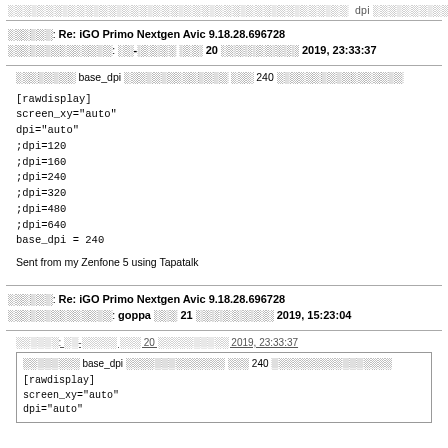░░░░░░░░░░░░░░░░░░░░░░░░░░░░░░░░░░░░░░░░░░░░ dpi ░░░░░░░░░░
░░░░░░: Re: iGO Primo Nextgen Avic 9.18.28.696728
░░░░░░░░░░░░░░: ░░-░░░░░ ░░░ 20 ░░░░░░░░░░ 2019, 23:33:37
░░░░░░░░ base_dpi ░░░░░░░░░░░░░░ ░░░ 240 ░░░░░░░░░░░░░░░░░

[rawdisplay]
screen_xy="auto"
dpi="auto"
;dpi=120
;dpi=160
;dpi=240
;dpi=320
;dpi=480
;dpi=640
base_dpi = 240

Sent from my Zenfone 5 using Tapatalk
░░░░░░: Re: iGO Primo Nextgen Avic 9.18.28.696728
░░░░░░░░░░░░░░: goppa ░░░ 21 ░░░░░░░░░░ 2019, 15:23:04
░░░░░░: ░░-░░░░░ ░░░ 20 ░░░░░░░░░░ 2019, 23:33:37
░░░░░░░░ base_dpi ░░░░░░░░░░░░░░ ░░░ 240 ░░░░░░░░░░░░░░░░░
[rawdisplay]
screen_xy="auto"
dpi="auto"